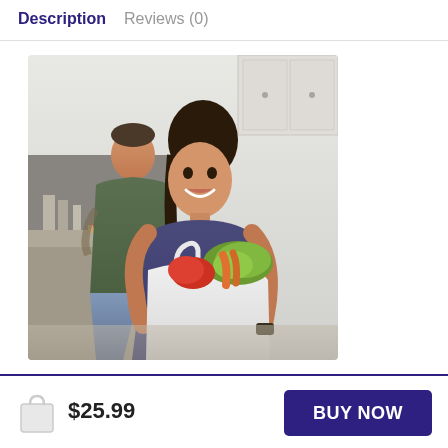Description   Reviews (0)
[Figure (photo): A smiling young woman holding a large white grocery bag filled with fresh vegetables including red peppers and lettuce. A man is visible in the background in a kitchen setting.]
$25.99
BUY NOW